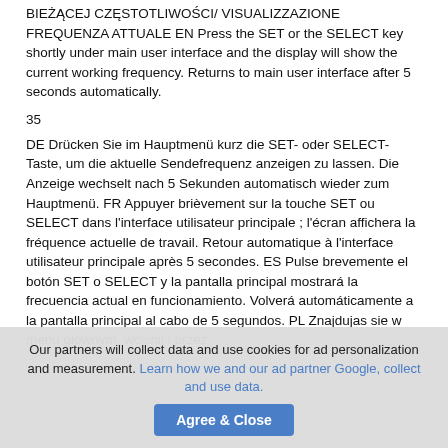BIEŻĄCEJ CZĘSTOTLIWOŚCI/ VISUALIZZAZIONE FREQUENZA ATTUALE EN Press the SET or the SELECT key shortly under main user interface and the display will show the current working frequency. Returns to main user interface after 5 seconds automatically.
35
DE Drücken Sie im Hauptmenü kurz die SET- oder SELECT-Taste, um die aktuelle Sendefrequenz anzeigen zu lassen. Die Anzeige wechselt nach 5 Sekunden automatisch wieder zum Hauptmenü. FR Appuyer brièvement sur la touche SET ou SELECT dans l'interface utilisateur principale ; l'écran affichera la fréquence actuelle de travail. Retour automatique à l'interface utilisateur principale après 5 secondes. ES Pulse brevemente el botón SET o SELECT y la pantalla principal mostrará la frecuencia actual en funcionamiento. Volverá automáticamente a la pantalla principal al cabo de 5 segundos. PL Znajdujas sie w menu głownym, wciśnij i przez
Our partners will collect data and use cookies for ad personalization and measurement. Learn how we and our ad partner Google, collect and use data.
Agree & Close